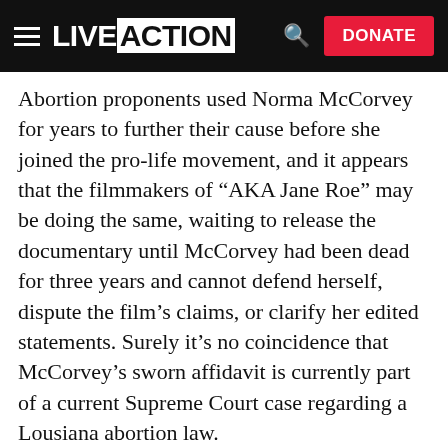LIVE ACTION | DONATE
Abortion proponents used Norma McCorvey for years to further their cause before she joined the pro-life movement, and it appears that the filmmakers of “AKA Jane Roe” may be doing the same, waiting to release the documentary until McCorvey had been dead for three years and cannot defend herself, dispute the film’s claims, or clarify her edited statements. Surely it’s no coincidence that McCorvey’s sworn affidavit is currently part of a current Supreme Court case regarding a Lousiana abortion law.
Abortion advocates appear to be using McCorvey to push their agenda one more, heartbreaking time.
Editor’s Note: Special thanks to Sarah Narcilli for...